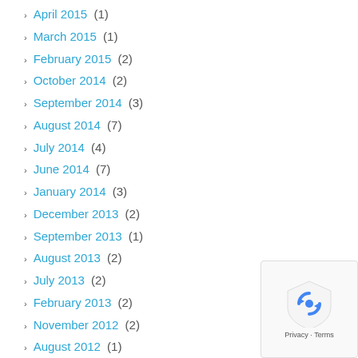April 2015 (1)
March 2015 (1)
February 2015 (2)
October 2014 (2)
September 2014 (3)
August 2014 (7)
July 2014 (4)
June 2014 (7)
January 2014 (3)
December 2013 (2)
September 2013 (1)
August 2013 (2)
July 2013 (2)
February 2013 (2)
November 2012 (2)
August 2012 (1)
June 2012 (2)
February 2012 (1)
January 2012 (3)